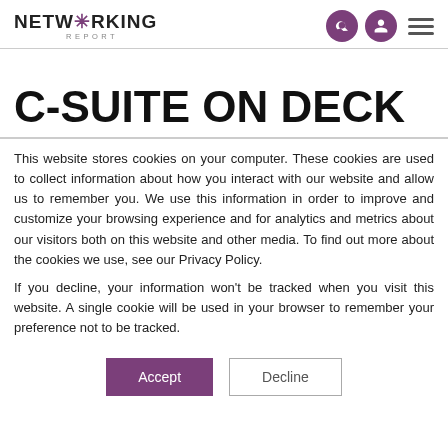NETWORKING REPORT
C-SUITE ON DECK
This website stores cookies on your computer. These cookies are used to collect information about how you interact with our website and allow us to remember you. We use this information in order to improve and customize your browsing experience and for analytics and metrics about our visitors both on this website and other media. To find out more about the cookies we use, see our Privacy Policy.
If you decline, your information won't be tracked when you visit this website. A single cookie will be used in your browser to remember your preference not to be tracked.